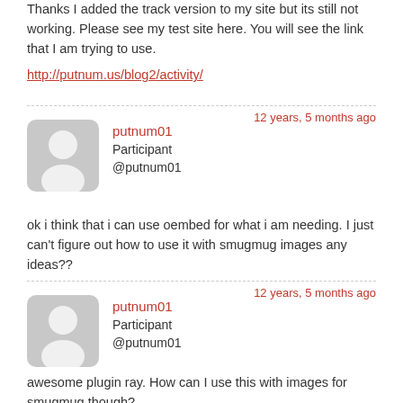Thanks I added the track version to my site but its still not working. Please see my test site here. You will see the link that I am trying to use.
http://putnum.us/blog2/activity/
12 years, 5 months ago
putnum01
Participant
@putnum01
ok i think that i can use oembed for what i am needing. I just can’t figure out how to use it with smugmug images any ideas??
12 years, 5 months ago
putnum01
Participant
@putnum01
awesome plugin ray. How can I use this with images for smugmug though?